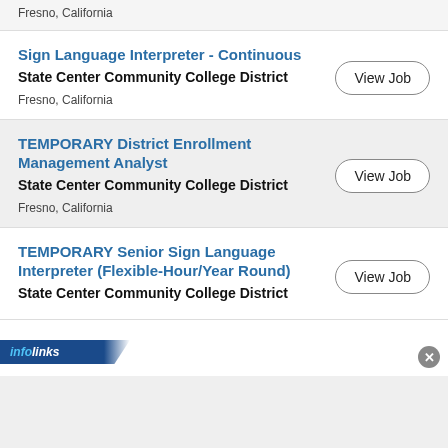Fresno, California
Sign Language Interpreter - Continuous
State Center Community College District
Fresno, California
TEMPORARY District Enrollment Management Analyst
State Center Community College District
Fresno, California
TEMPORARY Senior Sign Language Interpreter (Flexible-Hour/Year Round)
State Center Community College District